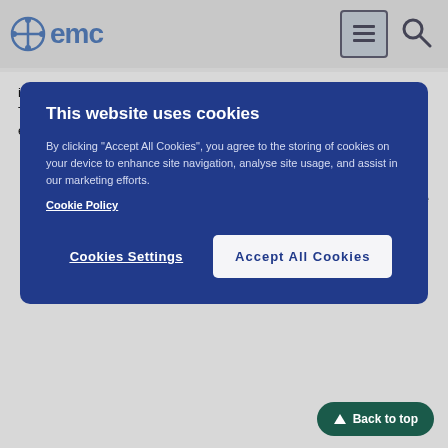emc
[Figure (screenshot): Cookie consent overlay on emc website with dark blue background. Contains title 'This website uses cookies', body text about cookie usage, Cookie Policy link, and two buttons: 'Cookies Settings' and 'Accept All Cookies'.]
increased pressure in your skull (for instance due to brain disease). This is because the capsules may make symptoms worse or hide the extent of a head injury;
suffer from seizures, fits or convulsions;
have a mental disorder as a result of an infection (toxic psychosis);
have inflammation of the pancreas (which causes severe pain in the abdomen and back);
have an under-active thyroid gland (hypothyroidism);
have low blood pressure (hypotension);
have kidney problems;